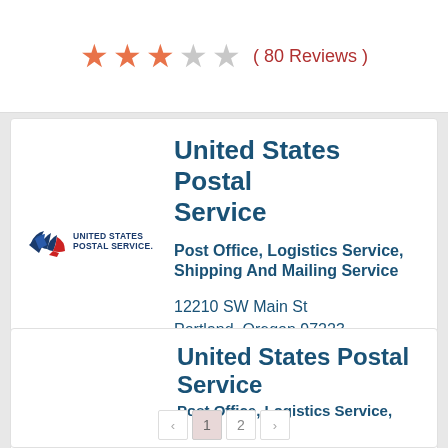( 80 Reviews ) — 3 stars out of 5
United States Postal Service
Post Office, Logistics Service, Shipping And Mailing Service
12210 SW Main St
Portland, Oregon 97223
(800) 275-8777
( 178 Reviews ) — 2 stars out of 5
United States Postal Service
Post Office, Logistics Service
1  2  »